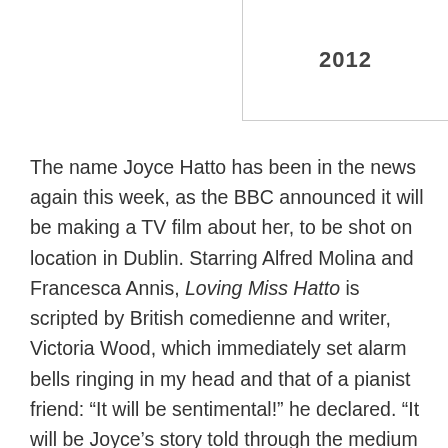| 2012 |
| --- |
The name Joyce Hatto has been in the news again this week, as the BBC announced it will be making a TV film about her, to be shot on location in Dublin. Starring Alfred Molina and Francesca Annis, Loving Miss Hatto is scripted by British comedienne and writer, Victoria Wood, which immediately set alarm bells ringing in my head and that of a pianist friend: “It will be sentimental!” he declared. “It will be Joyce’s story told through the medium of ‘Acorn Antiques’”, I replied. All this remains to